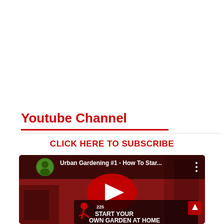Youtube Channel
CLICK HERE TO SUBSCRIBE
[Figure (screenshot): YouTube video thumbnail showing 'Urban Gardening #1 - How To Star...' with a play button overlay and text 'START YOUR OWN GARDEN AT HOME']